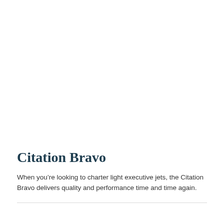Citation Bravo
When you’re looking to charter light executive jets, the Citation Bravo delivers quality and performance time and time again.